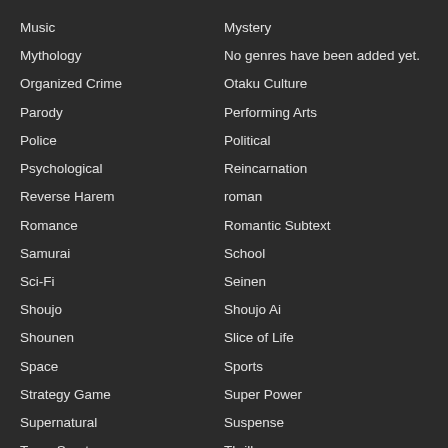Music
Mythology
Organized Crime
Parody
Police
Psychological
Reverse Harem
Romance
Samurai
Sci-Fi
Shoujo
Shounen
Space
Strategy Game
Supernatural
Team Sports
Mystery
No genres have been added yet.
Otaku Culture
Performing Arts
Political
Reincarnation
roman
Romantic Subtext
School
Seinen
Shoujo Ai
Slice of Life
Sports
Super Power
Suspense
Thriller